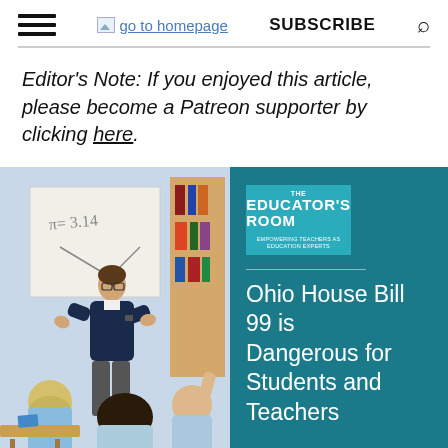go to homepage | SUBSCRIBE
Editor's Note: If you enjoyed this article, please become a Patreon supporter by clicking here.
[Figure (photo): Left half: a male teacher standing at a whiteboard in a classroom with students seated. Right half: teal background with The Educator's Room logo and text 'Ohio House Bill 99 is Dangerous for Students and Teachers']